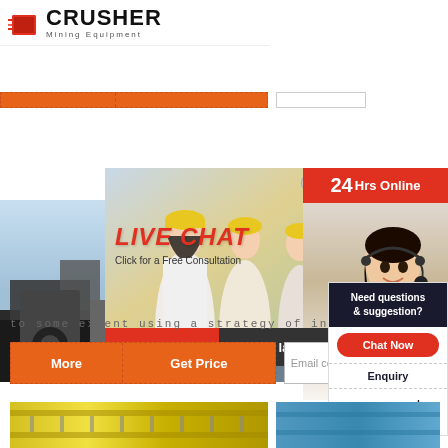[Figure (logo): Crusher Mining Equipment logo with red shopping bag icon and bold CRUSHER text]
[Figure (photo): Orange navigation bar with dashed borders and white input box]
[Figure (photo): Left photo showing industrial/mining equipment scene]
[Figure (photo): Right photo showing industrial facility]
[Figure (photo): Live Chat overlay popup with workers in hard hats, LIVE CHAT heading, Click for a Free Consultation text, Chat now and Chat later buttons, 24Hrs Online badge, customer service representative photo]
to some extent using a strategy of introduc
[Figure (other): Orange More and Get Price buttons with dashed border, followed by Email contact input field]
[Figure (other): Sidebar widget: Need questions & suggestion? Chat Now button, Enquiry section, mumumugoods@gmail.com]
[Figure (photo): Bottom left industrial equipment photo (yellow)]
[Figure (photo): Bottom right industrial photo (blue)]